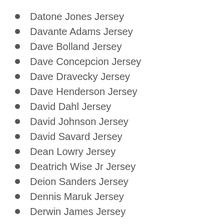Datone Jones Jersey
Davante Adams Jersey
Dave Bolland Jersey
Dave Concepcion Jersey
Dave Dravecky Jersey
Dave Henderson Jersey
David Dahl Jersey
David Johnson Jersey
David Savard Jersey
Dean Lowry Jersey
Deatrich Wise Jr Jersey
Deion Sanders Jersey
Dennis Maruk Jersey
Derwin James Jersey